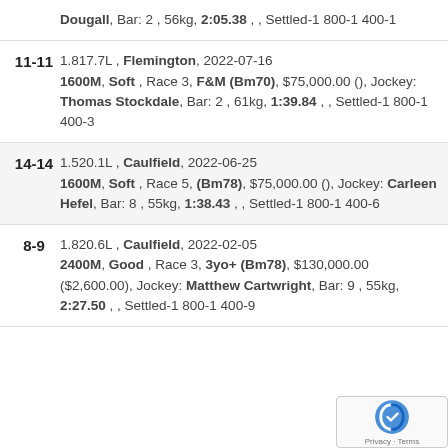Dougall, Bar: 2 , 56kg, 2:05.38 , , Settled-1 800-1 400-1
11-11 | 1.817.7L , Flemington, 2022-07-16 1600M, Soft , Race 3, F&M (Bm70), $75,000.00 (), Jockey: Thomas Stockdale, Bar: 2 , 61kg, 1:39.84 , , Settled-1 800-1 400-3
14-14 | 1.520.1L , Caulfield, 2022-06-25 1600M, Soft , Race 5, (Bm78), $75,000.00 (), Jockey: Carleen Hefel, Bar: 8 , 55kg, 1:38.43 , , Settled-1 800-1 400-6
8-9 | 1.820.6L , Caulfield, 2022-02-05 2400M, Good , Race 3, 3yo+ (Bm78), $130,000.00 ($2,600.00), Jockey: Matthew Cartwright, Bar: 9 , 55kg, 2:27.50 , , Settled-1 800-1 400-9